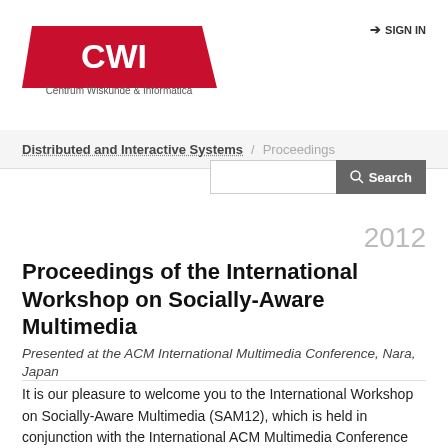[Figure (logo): CWI logo — red trapezoid shape with white 'CWI' text, below it 'Centrum Wiskunde & Informatica' in dark text]
➔ SIGN IN
Distributed and Interactive Systems / Proceedings
2012
Proceedings of the International Workshop on Socially-Aware Multimedia
Presented at the ACM International Multimedia Conference, Nara, Japan
It is our pleasure to welcome you to the International Workshop on Socially-Aware Multimedia (SAM12), which is held in conjunction with the International ACM Multimedia Conference 2012. The workshop provides